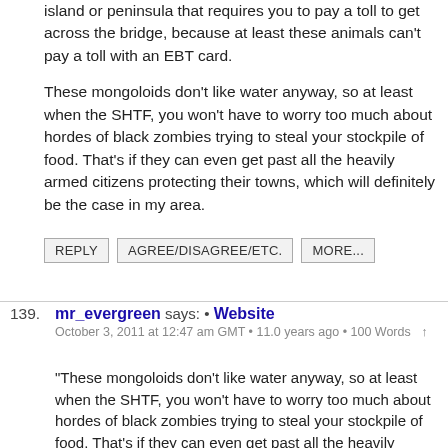island or peninsula that requires you to pay a toll to get across the bridge, because at least these animals can't pay a toll with an EBT card.
These mongoloids don't like water anyway, so at least when the SHTF, you won't have to worry too much about hordes of black zombies trying to steal your stockpile of food. That's if they can even get past all the heavily armed citizens protecting their towns, which will definitely be the case in my area.
REPLY   AGREE/DISAGREE/ETC.   MORE...
139.  mr_evergreen says: • Website
October 3, 2011 at 12:47 am GMT • 11.0 years ago • 100 Words  ↑
"These mongoloids don't like water anyway, so at least when the SHTF, you won't have to worry too much about hordes of black zombies trying to steal your stockpile of food. That's if they can even get past all the heavily armed citizens protecting their towns, which will definitely be the case in my area"